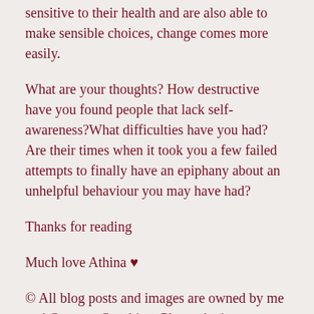sensitive to their health and are also able to make sensible choices, change comes more easily.
What are your thoughts? How destructive have you found people that lack self-awareness?What difficulties have you had? Are their times when it took you a few failed attempts to finally have an epiphany about an unhelpful behaviour you may have had?
Thanks for reading
Much love Athina ♥
© All blog posts and images are owned by me and Courage Coaching. Please don't use